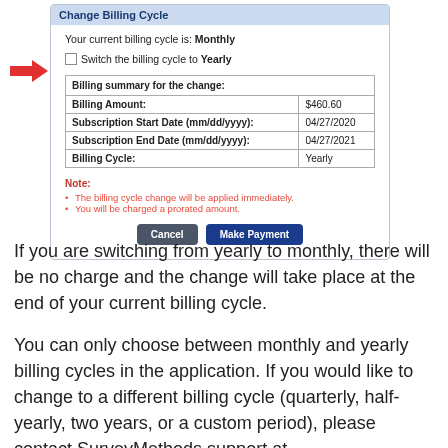[Figure (screenshot): Screenshot of 'Change Billing Cycle' dialog with a red arrow pointing to a checkbox 'Switch the billing cycle to Yearly'. Below is a billing summary table showing Billing Amount $460.60, Subscription Start Date 04/27/2020, Subscription End Date 04/27/2021, Billing Cycle Yearly. There is a Note section in red with two bullet points, and Cancel/Make Payment buttons.]
If you are switching from yearly to monthly, there will be no charge and the change will take place at the end of your current billing cycle.
You can only choose between monthly and yearly billing cycles in the application. If you would like to change to a different billing cycle (quarterly, half-yearly, two years, or a custom period), please contact SurveyMethods support at